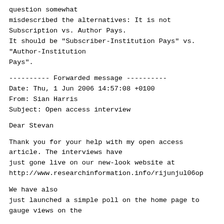question somewhat
misdescribed the alternatives: It is not
Subscription vs. Author Pays.
It should be "Subscriber-Institution Pays" vs.
"Author-Institution
Pays".
---------- Forwarded message ----------
Date: Thu, 1 Jun 2006 14:57:08 +0100
From: Sian Harris
Subject: Open access interview
Dear Stevan
Thank you for your help with my open access
article. The interviews have
just gone live on our new-look website at
http://www.researchinformation.info/rijunjul06op
We have also
just launched a simple poll on the home page to
gauge views on the